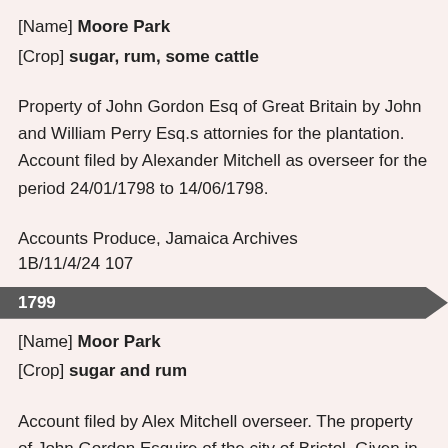[Name] Moore Park
[Crop] sugar, rum, some cattle
Property of John Gordon Esq of Great Britain by John and William Perry Esq.s attornies for the plantation. Account filed by Alexander Mitchell as overseer for the period 24/01/1798 to 14/06/1798.
Accounts Produce, Jamaica Archives 1B/11/4/24 107
1799
[Name] Moor Park
[Crop] sugar and rum
Account filed by Alex Mitchell overseer. The property of John Gordon Esquire of the city of Bristol. Given in by order of John and William